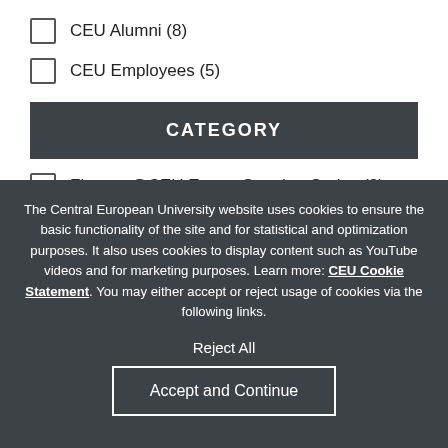CEU Alumni (8)
CEU Employees (5)
CATEGORY
Finance@CEU Expert Speaker Series (2)
The Central European University website uses cookies to ensure the basic functionality of the site and for statistical and optimization purposes. It also uses cookies to display content such as YouTube videos and for marketing purposes. Learn more: CEU Cookie Statement. You may either accept or reject usage of cookies via the following links.
Reject All
Accept and Continue